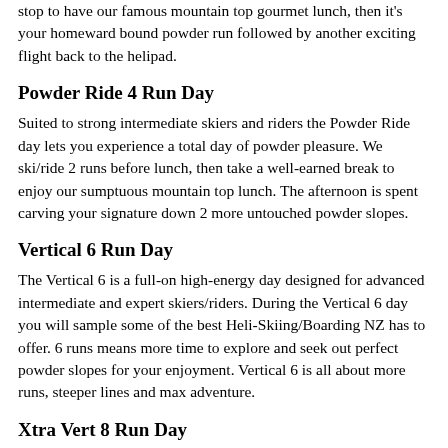stop to have our famous mountain top gourmet lunch, then it’s your homeward bound powder run followed by another exciting flight back to the helipad.
Powder Ride 4 Run Day
Suited to strong intermediate skiers and riders the Powder Ride day lets you experience a total day of powder pleasure. We ski/ride 2 runs before lunch, then take a well-earned break to enjoy our sumptuous mountain top lunch. The afternoon is spent carving your signature down 2 more untouched powder slopes.
Vertical 6 Run Day
The Vertical 6 is a full-on high-energy day designed for advanced intermediate and expert skiers/riders. During the Vertical 6 day you will sample some of the best Heli-Skiing/Boarding NZ has to offer. 6 runs means more time to explore and seek out perfect powder slopes for your enjoyment. Vertical 6 is all about more runs, steeper lines and max adventure.
Xtra Vert 8 Run Day
The Xtra-Vert is a high performance, adrenaline pumping, action packed day. This is the realm of expert skiers looking to ski the steep and deep. Your guide will take you to the very best slopes